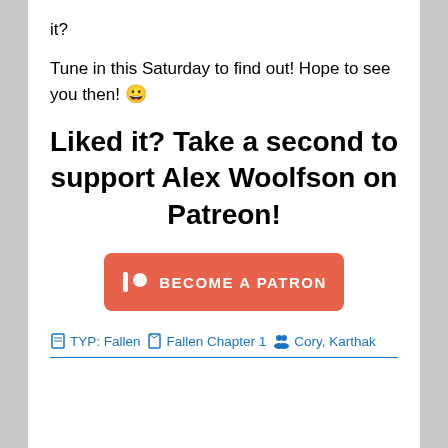it?
Tune in this Saturday to find out! Hope to see you then! 😀
Liked it? Take a second to support Alex Woolfson on Patreon!
[Figure (other): Patreon 'Become a Patron' button in orange-red with Patreon logo icon]
📄 TYP: Fallen  📘 Fallen Chapter 1  👥 Cory, Karthak